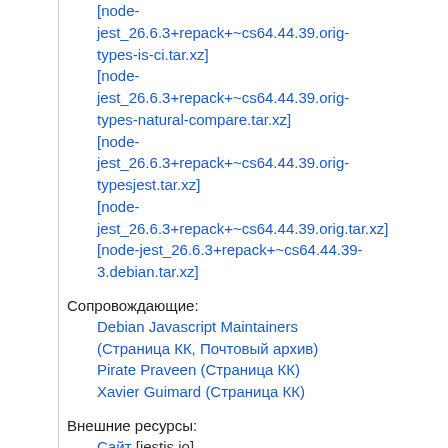[node-jest_26.6.3+repack+~cs64.44.39.orig-types-is-ci.tar.xz]
[node-jest_26.6.3+repack+~cs64.44.39.orig-types-natural-compare.tar.xz]
[node-jest_26.6.3+repack+~cs64.44.39.orig-typesjest.tar.xz]
[node-jest_26.6.3+repack+~cs64.44.39.orig.tar.xz]
[node-jest_26.6.3+repack+~cs64.44.39-3.debian.tar.xz]
Сопровождающие:
Debian Javascript Maintainers (Страница КК, Почтовый архив)
Pirate Praveen (Страница КК)
Xavier Guimard (Страница КК)
Внешние ресурсы:
Сайт [jestjs.io]
Подобные пакеты:
node-leche
node-grunt-contrib-nodeunit
node-redux
node-tap-mocha-reporter